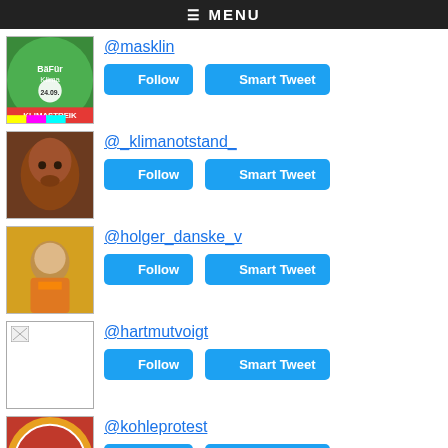≡ MENU
@masklin
Follow | Smart Tweet
@_klimanotstand_
Follow | Smart Tweet
@holger_danske_v
Follow | Smart Tweet
@hartmutvoigt
Follow | Smart Tweet
@kohleprotest
Follow | Smart Tweet
Top Tweeters in G8:
@nytimes
Follow | Smart Tweet
@dannywijnhoud
Follow | Smart Tweet